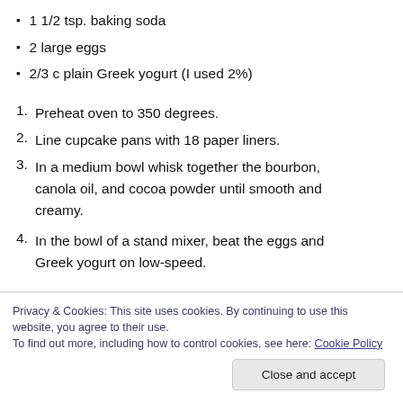1 1/2 tsp. baking soda
2 large eggs
2/3 c plain Greek yogurt (I used 2%)
1. Preheat oven to 350 degrees.
2. Line cupcake pans with 18 paper liners.
3. In a medium bowl whisk together the bourbon, canola oil, and cocoa powder until smooth and creamy.
4. In the bowl of a stand mixer, beat the eggs and Greek yogurt on low-speed.
Privacy & Cookies: This site uses cookies. By continuing to use this website, you agree to their use.
To find out more, including how to control cookies, see here: Cookie Policy